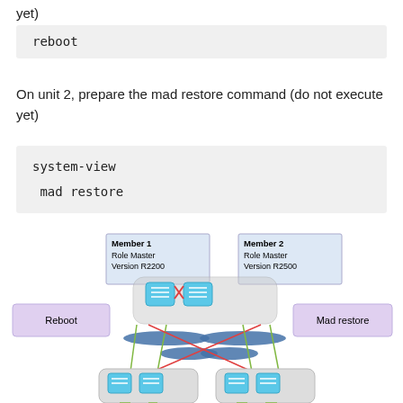yet)
On unit 2, prepare the mad restore command (do not execute yet)
[Figure (network-graph): Network diagram showing Member 1 (Role: Master, Version: R2200) and Member 2 (Role: Master, Version: R2500) connected via switches, with 'Reboot' label on left and 'Mad restore' label on right, showing IRF stack connections with green and red cross-links to downstream switches.]